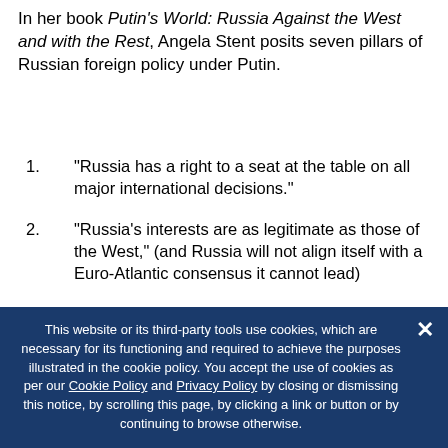In her book Putin's World: Russia Against the West and with the Rest, Angela Stent posits seven pillars of Russian foreign policy under Putin.
"Russia has a right to a seat at the table on all major international decisions."
"Russia's interests are as legitimate as those of the West," (and Russia will not align itself with a Euro-Atlantic consensus it cannot lead)
"Russia has a right to a sphere of privileged interests in the post- Soviet space."
"Great powers like Russia, China, India, and the
This website or its third-party tools use cookies, which are necessary for its functioning and required to achieve the purposes illustrated in the cookie policy. You accept the use of cookies as per our Cookie Policy and Privacy Policy by closing or dismissing this notice, by scrolling this page, by clicking a link or button or by continuing to browse otherwise.